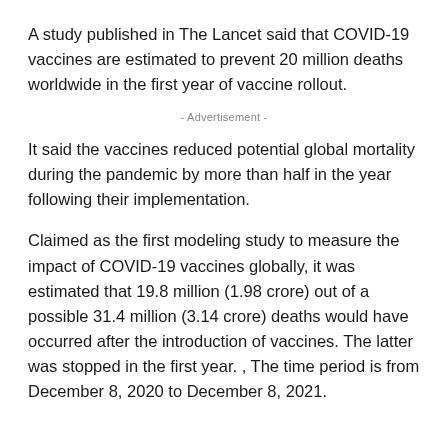A study published in The Lancet said that COVID-19 vaccines are estimated to prevent 20 million deaths worldwide in the first year of vaccine rollout.
- Advertisement -
It said the vaccines reduced potential global mortality during the pandemic by more than half in the year following their implementation.
Claimed as the first modeling study to measure the impact of COVID-19 vaccines globally, it was estimated that 19.8 million (1.98 crore) out of a possible 31.4 million (3.14 crore) deaths would have occurred after the introduction of vaccines. The latter was stopped in the first year. , The time period is from December 8, 2020 to December 8, 2021.